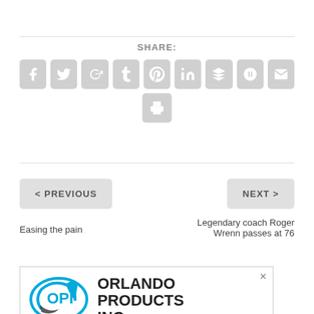SHARE:
[Figure (infographic): Row of social media sharing icon buttons: Facebook, Twitter, Google+, Tumblr, Pinterest, LinkedIn, Buffer, StumbleUpon, Email, and Print — all light gray rounded square buttons]
< PREVIOUS
NEXT >
Easing the pain
Legendary coach Roger Wrenn passes at 76
[Figure (logo): Orlando Products Inc (OPI) advertisement with logo and text: CUSTOM ENGINEERED FOAM AND PACKAGING]
Share This